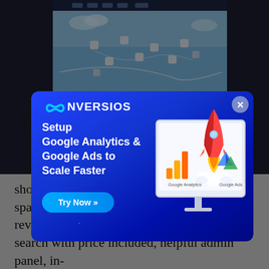[Figure (screenshot): Website screenshot of a travel/map booking site shown in the background, partially obscured by a dark overlay and a modal popup.]
[Figure (infographic): Conversios promotional modal with blue gradient background. Shows the Conversios logo (infinity symbol + CONVERSIOS text), tagline 'Setup Google Analytics & Google Ads to Scale Faster', a 'Try Now' button, and an illustration of a computer monitor with rocket, Google Analytics and Google Ads logos.]
showing option, optimized advertisement space, multi-language support, customer reviews, reservation booking and availability search with price included, helpful admin panel, in-